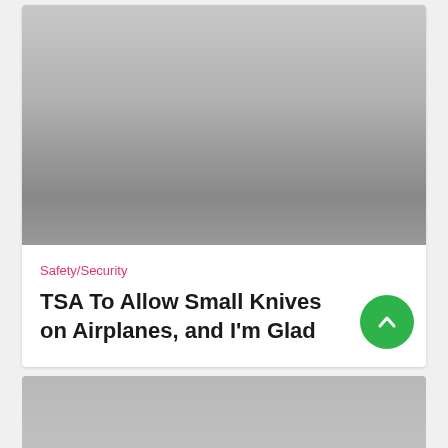[Figure (photo): Gray gradient placeholder image representing a photo at the top of a card]
Safety/Security
TSA To Allow Small Knives on Airplanes, and I'm Glad
[Figure (photo): Partial gray gradient placeholder image at the bottom of the page, cropped]